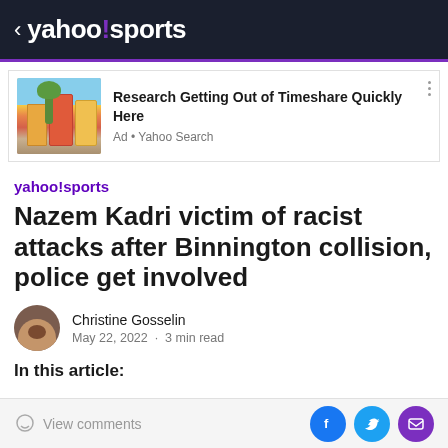< yahoo!sports
[Figure (photo): Advertisement: colorful Mediterranean-style buildings with palm tree. Text: Research Getting Out of Timeshare Quickly Here. Ad • Yahoo Search]
yahoo!sports
Nazem Kadri victim of racist attacks after Binnington collision, police get involved
Christine Gosselin
May 22, 2022 · 3 min read
In this article:
View comments